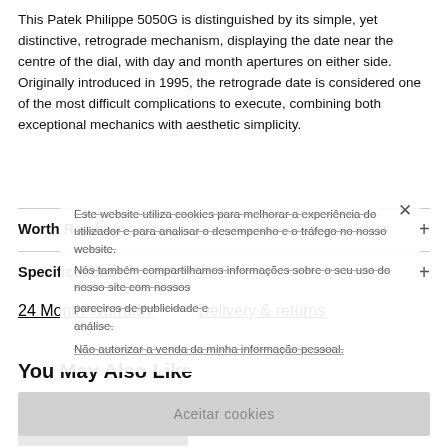This Patek Philippe 5050G is distinguished by its simple, yet distinctive, retrograde mechanism, displaying the date near the centre of the dial, with day and month apertures on either side. Originally introduced in 1995, the retrograde date is considered one of the most difficult complications to execute, combining both exceptional mechanics with aesthetic simplicity.
Worth Reading
Specifications
24 Month Warranty    Delivery & returns
You May Also Like